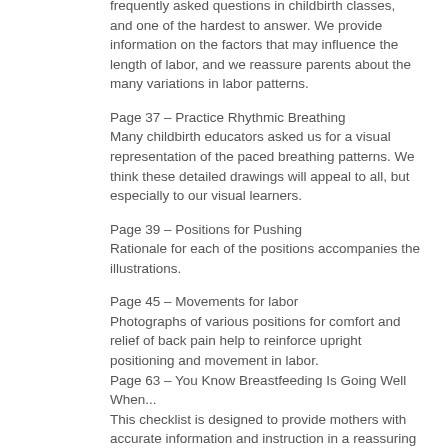frequently asked questions in childbirth classes, and one of the hardest to answer. We provide information on the factors that may influence the length of labor, and we reassure parents about the many variations in labor patterns.
Page 37 – Practice Rhythmic Breathing
Many childbirth educators asked us for a visual representation of the paced breathing patterns. We think these detailed drawings will appeal to all, but especially to our visual learners.
Page 39 – Positions for Pushing
Rationale for each of the positions accompanies the illustrations.
Page 45 – Movements for labor
Photographs of various positions for comfort and relief of back pain help to reinforce upright positioning and movement in labor.
Page 63 – You Know Breastfeeding Is Going Well When...
This checklist is designed to provide mothers with accurate information and instruction in a reassuring and positive manner.
Page 71-73 – ...